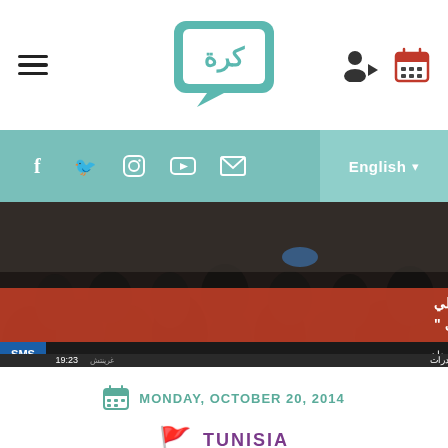[Figure (logo): Website logo with Arabic text in a speech-bubble style box]
[Figure (infographic): Social media icons bar (Facebook, Twitter, Instagram, YouTube, Email) with English language selector]
[Figure (photo): News screenshot showing Arabic debate panel text overlay on dark crowd background, Al Jazeera ticker]
MONDAY, OCTOBER 20, 2014
TUNISIA
Democracy and Political Isl...